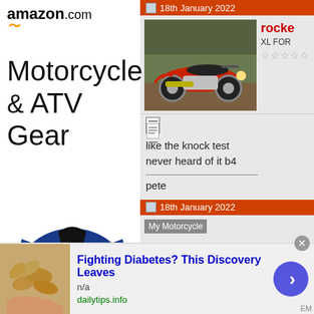[Figure (screenshot): Amazon.com advertisement for Motorcycle & ATV Gear featuring a riding jacket, with infolinks branding at the bottom]
18th January 2022
[Figure (photo): Red motorcycle parked outdoors on dirt/gravel area surrounded by trees]
rocke XL FOR ☆☆☆☆☆
[Figure (other): Comment note icon]
like the knock test never heard of it b4
pete
18th January 2022
My Motorcycle
[Figure (screenshot): Bottom advertisement: Fighting Diabetes? This Discovery Leaves — n/a — dailytips.info, with cashews image and arrow button]